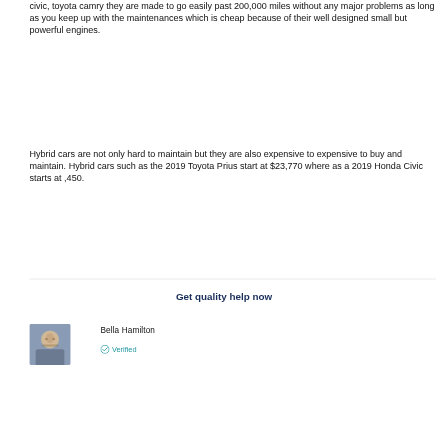civic, toyota camry they are made to go easily past 200,000 miles without any major problems as long as you keep up with the maintenances which is cheap because of their well designed small but powerful engines.
Hybrid cars are not only hard to maintain but they are also expensive to expensive to buy and maintain. Hybrid cars such as the 2019 Toyota Prius start at $23,770 where as a 2019 Honda Civic starts at ,450.
Get quality help now
Bella Hamilton
Verified